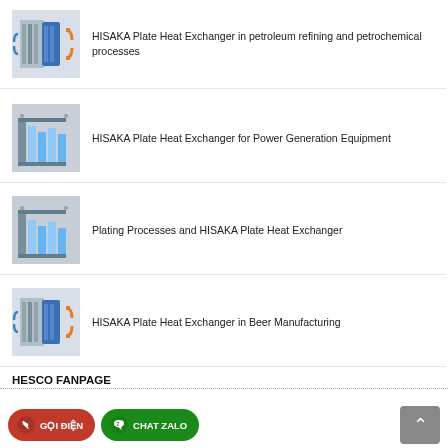HISAKA Plate Heat Exchanger in petroleum refining and petrochemical processes
HISAKA Plate Heat Exchanger for Power Generation Equipment
Plating Processes and HISAKA Plate Heat Exchanger
HISAKA Plate Heat Exchanger in Beer Manufacturing
HESCO FANPAGE
GỌI ĐIỆN
CHAT ZALO